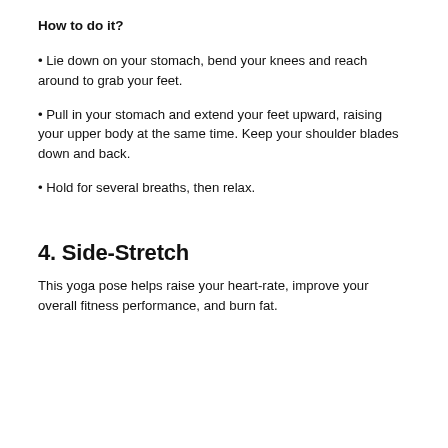How to do it?
Lie down on your stomach, bend your knees and reach around to grab your feet.
Pull in your stomach and extend your feet upward, raising your upper body at the same time. Keep your shoulder blades down and back.
Hold for several breaths, then relax.
4. Side-Stretch
This yoga pose helps raise your heart-rate, improve your overall fitness performance, and burn fat.